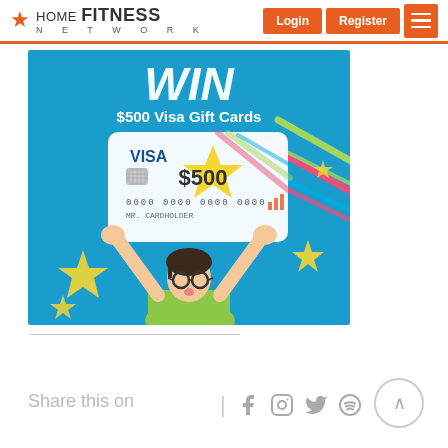HOME FITNESS NETWORK — Login | Register
[Figure (illustration): Promotional banner showing a child holding a Visa $500 gift card over a blue background with colorful confetti-like streaks and yellow stars. Text reads 'WIN' and '$500 Visa Gift Cards'.]
Share this on
[Figure (infographic): Social media share icons: Facebook, Instagram, Twitter, Spotify, and a scroll-to-top arrow button]